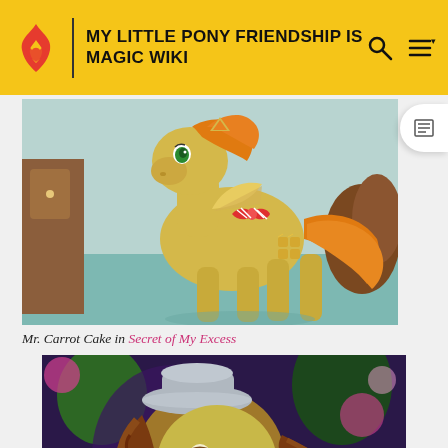MY LITTLE PONY FRIENDSHIP IS MAGIC WIKI
[Figure (illustration): Mr. Carrot Cake character illustration from My Little Pony: a yellow earth pony with orange mane, green eyes, and a red-and-white striped bow tie, with sugar cube cutie mark, standing in a bakery-like setting.]
Mr. Carrot Cake in Secret of My Excess
[Figure (illustration): Close-up screenshot of a My Little Pony character wearing a grey hat with a brown curly mane, in a dark colorful background scene.]